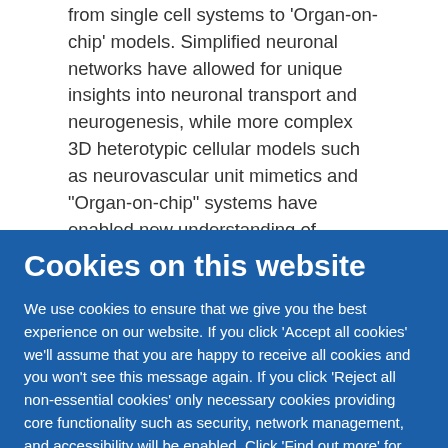from single cell systems to 'Organ-on-chip' models. Simplified neuronal networks have allowed for unique insights into neuronal transport and neurogenesis, while more complex 3D heterotypic cellular models such as neurovascular unit mimetics and "Organ-on-chip" systems have enabled new understanding of metabolic coupling and blood-brain barrier transport. These systems are now being developed beyond MPS toward disease specific micro-pathophysiological systems, moving from "Organ-on-chip" to "Disease-on-chip."
Cookies on this website
We use cookies to ensure that we give you the best experience on our website. If you click 'Accept all cookies' we'll assume that you are happy to receive all cookies and you won't see this message again. If you click 'Reject all non-essential cookies' only necessary cookies providing core functionality such as security, network management, and accessibility will be enabled. Click 'Find out more' for information on how to change your cookie settings.